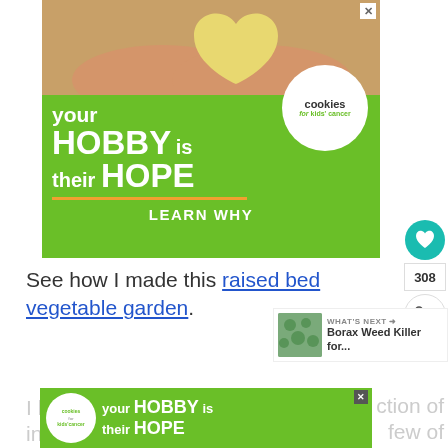[Figure (illustration): Advertisement banner for 'Cookies for Kids Cancer' charity with green background, hands holding a heart-shaped cookie, text reading 'your HOBBY is their HOPE – LEARN WHY']
See how I made this raised bed vegetable garden.
[Figure (illustration): Small 'What's Next' widget showing a thumbnail of herbs/plants with text 'Borax Weed Killer for...']
[Figure (illustration): Second smaller advertisement for 'Cookies for Kids Cancer' with same branding and text 'your HOBBY is their HOPE']